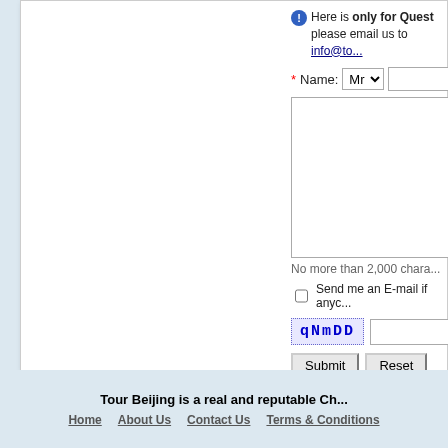Here is only for Quest... please email us to info@to...
*Name: Mr [dropdown] [text input]
[textarea]
No more than 2,000 chara...
Send me an E-mail if anyc...
[Figure (screenshot): CAPTCHA image showing text 'qNmDD' followed by text input field]
Submit  Reset
Tour Beijing is a real and reputable Ch...
Home | About Us | Contact Us | Terms & Conditions